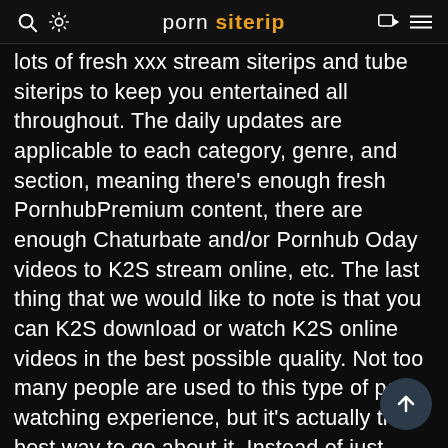porn siterip
lots of fresh xxx stream siterips and tube siterips to keep you entertained all throughout. The daily updates are applicable to each category, genre, and section, meaning there's enough fresh PornhubPremium content, there are enough Chaturbate and/or Pornhub Oday videos to K2S stream online, etc. The last thing that we would like to note is that you can K2S download or watch K2S online videos in the best possible quality. Not too many people are used to this type of porn-watching experience, but it's actually the best way to go about it. Instead of just streaming random ChristyMarks videos in lower resolution, why don't you smash that download button and enjoy the scenes in the hi resolution?